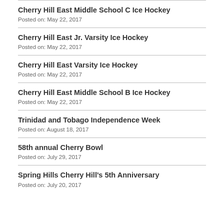Cherry Hill East Middle School C Ice Hockey
Posted on: May 22, 2017
Cherry Hill East Jr. Varsity Ice Hockey
Posted on: May 22, 2017
Cherry Hill East Varsity Ice Hockey
Posted on: May 22, 2017
Cherry Hill East Middle School B Ice Hockey
Posted on: May 22, 2017
Trinidad and Tobago Independence Week
Posted on: August 18, 2017
58th annual Cherry Bowl
Posted on: July 29, 2017
Spring Hills Cherry Hill's 5th Anniversary
Posted on: July 20, 2017